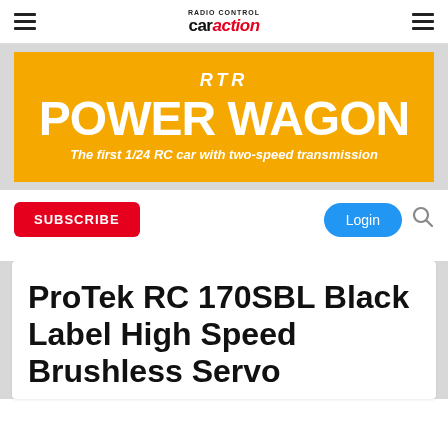RC Car Action - car action
[Figure (illustration): Orange promotional banner for RTR POWER WAGON - The first 1/24 RC car with two-speed transmission]
SUBSCRIBE
Login
ProTek RC 170SBL Black Label High Speed Brushless Servo